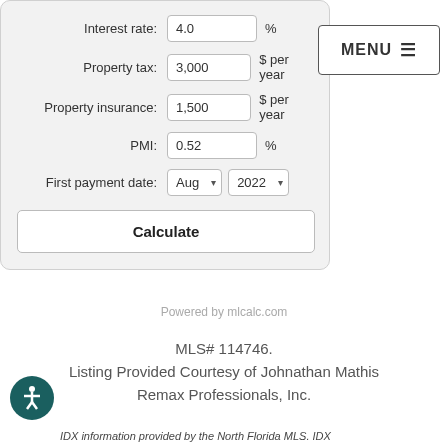Interest rate: 4.0 %
Property tax: 3,000 $ per year
Property insurance: 1,500 $ per year
PMI: 0.52 %
First payment date: Aug 2022
Calculate
MENU ☰
Powered by mlcalc.com
MLS# 114746.
Listing Provided Courtesy of Johnathan Mathis
Remax Professionals, Inc.
IDX information provided by the North Florida MLS. IDX